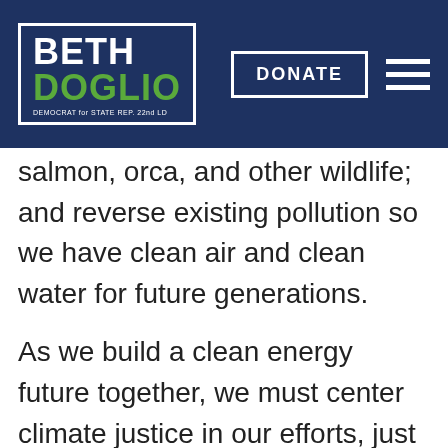BETH DOGLIO — DEMOCRAT for STATE REP. 22nd LD | DONATE
salmon, orca, and other wildlife; and reverse existing pollution so we have clean air and clean water for future generations.
As we build a clean energy future together, we must center climate justice in our efforts, just as I fought to make sure our state's 100% Clean Energy Law contained equity standards. These were the first policies of their kind in the nation. And, in